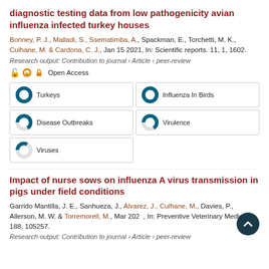diagnostic testing data from low pathogenicity avian influenza infected turkey houses
Bonney, P. J., Malladi, S., Ssematimba, A., Spackman, E., Torchetti, M. K., Culhane, M. & Cardona, C. J., Jan 15 2021, In: Scientific reports. 11, 1, 1602.
Research output: Contribution to journal › Article › peer-review
Open Access
Turkeys 100%
Influenza In Birds 100%
Disease Outbreaks 66%
Virulence 66%
Viruses 33%
Impact of nurse sows on influenza A virus transmission in pigs under field conditions
Garrido Mantilla, J. E., Sanhueza, J., Alvarez, J., Culhane, M., Davies, P., Allerson, M. W. & Torremorell, M., Mar 2020, In: Preventive Veterinary Medicine. 188, 105257.
Research output: Contribution to journal › Article › peer-review